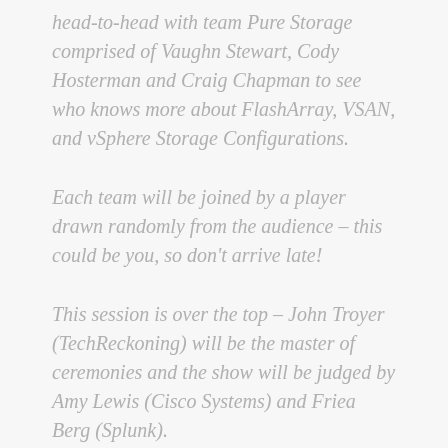head-to-head with team Pure Storage comprised of Vaughn Stewart, Cody Hosterman and Craig Chapman to see who knows more about FlashArray, VSAN, and vSphere Storage Configurations.
Each team will be joined by a player drawn randomly from the audience – this could be you, so don't arrive late!
This session is over the top – John Troyer (TechReckoning) will be the master of ceremonies and the show will be judged by Amy Lewis (Cisco Systems) and Friea Berg (Splunk).
In addition, some of the questions will be for the audience, which could mean some the...